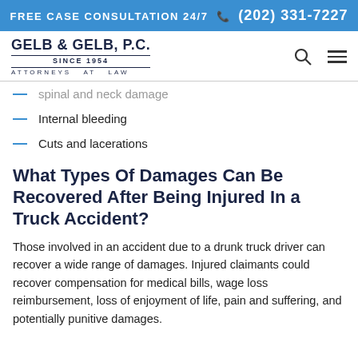FREE CASE CONSULTATION 24/7 (202) 331-7227
GELB & GELB, P.C. SINCE 1954 ATTORNEYS AT LAW
spinal and neck damage
Internal bleeding
Cuts and lacerations
What Types Of Damages Can Be Recovered After Being Injured In a Truck Accident?
Those involved in an accident due to a drunk truck driver can recover a wide range of damages. Injured claimants could recover compensation for medical bills, wage loss reimbursement, loss of enjoyment of life, pain and suffering, and potentially punitive damages.